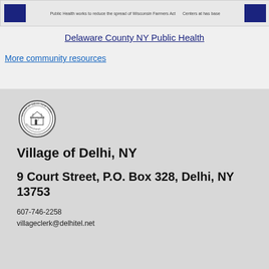[Figure (screenshot): Banner image for Delaware County NY Public Health with blue blocks on left and right and small text in center]
Delaware County NY Public Health
More community resources
[Figure (logo): Circular official seal/emblem of the Village of Delhi NY]
Village of Delhi, NY
9 Court Street, P.O. Box 328, Delhi, NY 13753
607-746-2258
villageclerk@delhitel.net